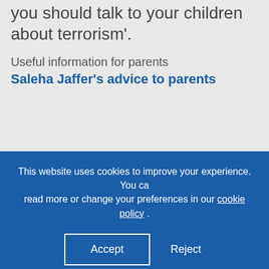you should talk to your children about terrorism'.
Useful information for parents
Saleha Jaffer's advice to parents
This website uses cookies to improve your experience. You ca read more or change your preferences in our cookie policy .